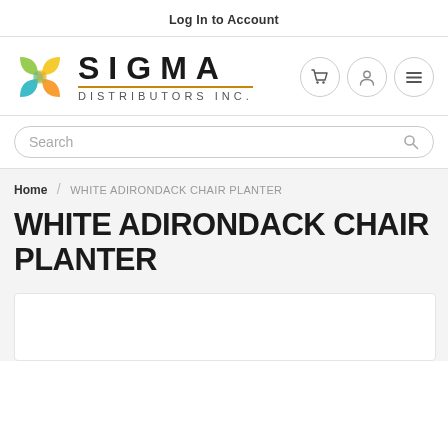Log In to Account
[Figure (logo): Sigma Distributors Inc. logo with colorful interlocking petal shapes and text]
Search
Home / WHITE ADIRONDACK CHAIR PLANTER
WHITE ADIRONDACK CHAIR PLANTER